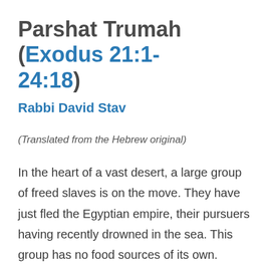Parshat Trumah (Exodus 21:1-24:18)
Rabbi David Stav
(Translated from the Hebrew original)
In the heart of a vast desert, a large group of freed slaves is on the move. They have just fled the Egyptian empire, their pursuers having recently drowned in the sea. This group has no food sources of its own. Every day, these freed slaves receive a special type of food called manna. The food may not be kept from one day to